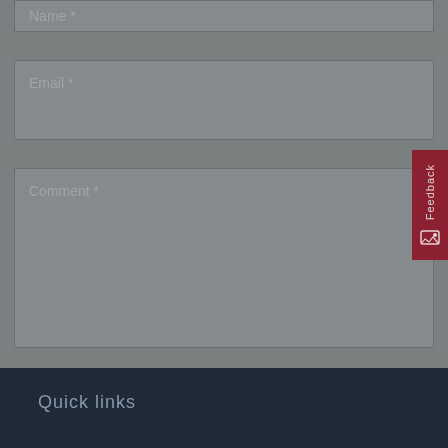Name *
Email *
Comment *
Post comment
Feedback
Quick links